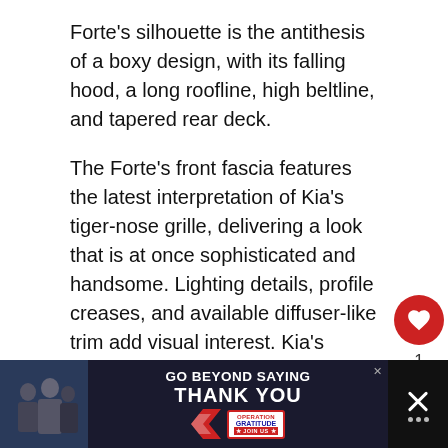Forte's silhouette is the antithesis of a boxy design, with its falling hood, a long roofline, high beltline, and tapered rear deck.
The Forte's front fascia features the latest interpretation of Kia's tiger-nose grille, delivering a look that is at once sophisticated and handsome. Lighting details, profile creases, and available diffuser-like trim add visual interest. Kia's designers worked diligently to impart a more refined look to the Forte and it pays off.
[Figure (screenshot): Social media UI elements: heart/like button (red circle with heart icon), count '1', share button (circle with share icon)]
[Figure (screenshot): What's Next section with thumbnail image and text 'Why The Ford Coyote Engi...']
[Figure (screenshot): Advertisement banner: GO BEYOND SAYING THANK YOU - Operation Gratitude JOIN US]